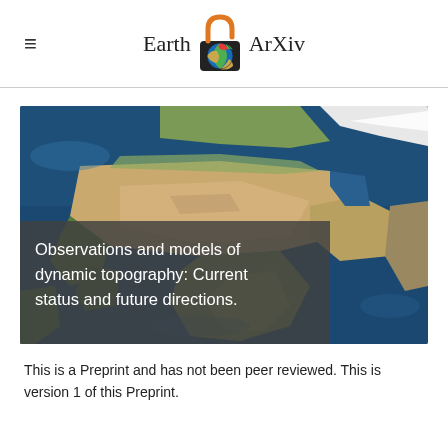Earth ArXiv
[Figure (map): Satellite map image showing Africa, Middle East, and Europe from a globe perspective, used as background for article preview card]
Observations and models of dynamic topography: Current status and future directions.
This is a Preprint and has not been peer reviewed. This is version 1 of this Preprint.